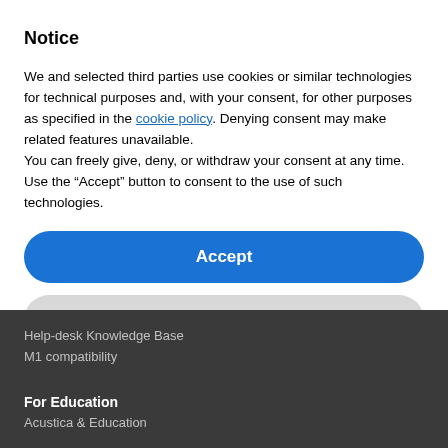Notice
We and selected third parties use cookies or similar technologies for technical purposes and, with your consent, for other purposes as specified in the cookie policy. Denying consent may make related features unavailable.
You can freely give, deny, or withdraw your consent at any time. Use the “Accept” button to consent to the use of such technologies.
[Figure (other): Blue rounded 'Accept' button]
[Figure (other): Gray rounded 'Learn more and customize' button]
Help-desk Knowledge Base
M1 compatibility
For Education
Acustica & Education